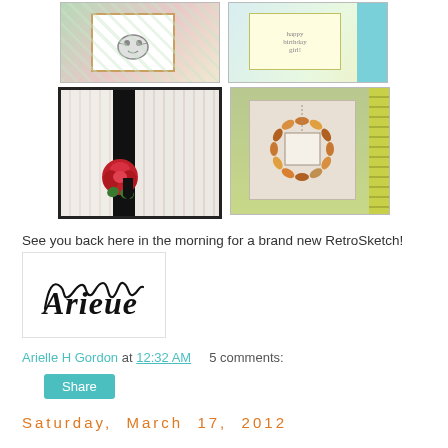[Figure (photo): 2x2 grid of craft/card-making photos: top-left shows a cute cat greeting card with patterned paper, top-right shows a birthday card being held, bottom-left shows a greeting card with a black stripe and red rose decoration, bottom-right shows an autumn wreath card with leaf embellishments on striped background.]
See you back here in the morning for a brand new RetroSketch!
[Figure (illustration): Handwritten signature reading 'Arielle' in cursive script, on white background with a light border.]
Arielle H Gordon at 12:32 AM    5 comments:
Share
Saturday, March 17, 2012